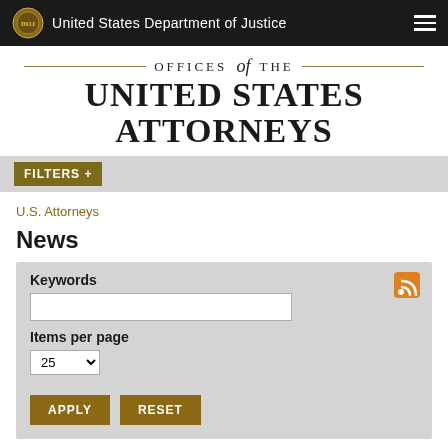United States Department of Justice
OFFICES of THE UNITED STATES ATTORNEYS
FILTERS +
U.S. Attorneys
News
Keywords
Items per page
25
APPLY  RESET
September 12, 2016